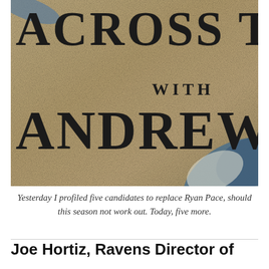[Figure (photo): Close-up photo of a book or magazine cover showing large bold serif text reading 'ACROSS TI' on the top line and 'ANDREW' on a lower line, with 'WITH' in smaller text between them. The background appears to be a textured tan/sandy surface with blue and white painted elements visible in the lower right corner.]
Yesterday I profiled five candidates to replace Ryan Pace, should this season not work out. Today, five more.
Joe Hortiz, Ravens Director of